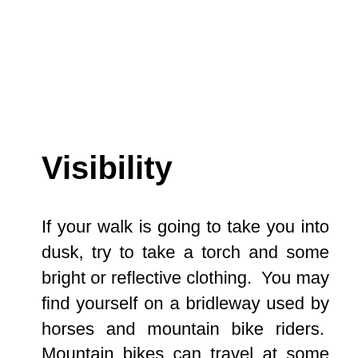Visibility
If your walk is going to take you into dusk, try to take a torch and some bright or reflective clothing. You may find yourself on a bridleway used by horses and mountain bike riders. Mountain bikes can travel at some speed and may not be able to see you until the last moment if you're